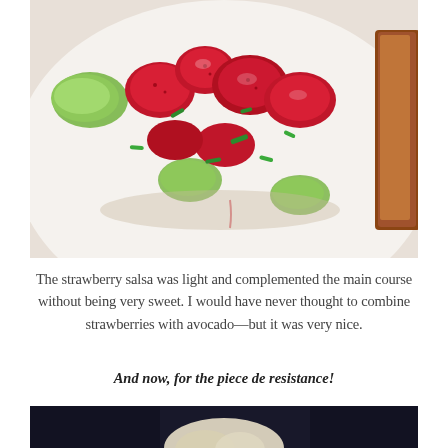[Figure (photo): Close-up photo of strawberry avocado salsa on a white plate, showing chopped strawberries, avocado chunks, and green onions, with a piece of browned meat visible at the right edge.]
The strawberry salsa was light and complemented the main course without being very sweet. I would have never thought to combine strawberries with avocado—but it was very nice.
And now, for the piece de resistance!
[Figure (photo): Bottom portion of a photo showing a dark background with a light-colored food item, partially visible at the bottom of the page.]